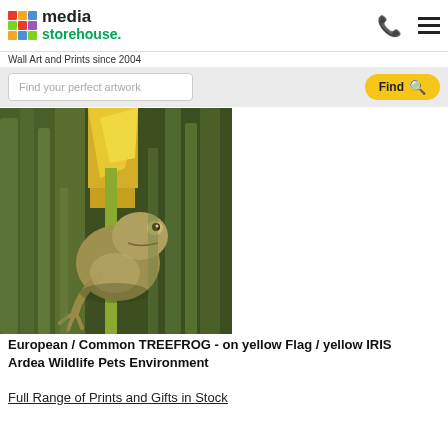media storehouse. Wall Art and Prints since 2004
Find your perfect artwork
[Figure (photo): A European / Common Tree Frog clinging to a yellow Flag / yellow Iris plant stem, photographed by Ardea Wildlife Pets Environment]
European / Common TREEFROG - on yellow Flag / yellow IRIS Ardea Wildlife Pets Environment
Full Range of Prints and Gifts in Stock